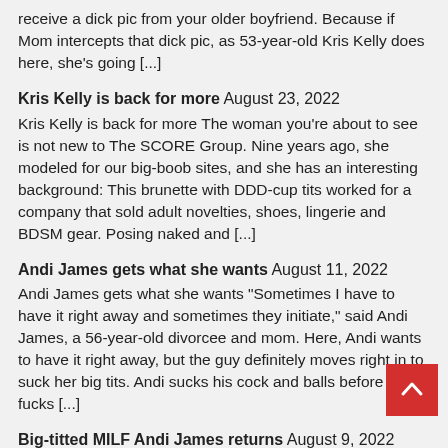receive a dick pic from your older boyfriend. Because if Mom intercepts that dick pic, as 53-year-old Kris Kelly does here, she's going [...]
Kris Kelly is back for more August 23, 2022
Kris Kelly is back for more The woman you're about to see is not new to The SCORE Group. Nine years ago, she modeled for our big-boob sites, and she has an interesting background: This brunette with DDD-cup tits worked for a company that sold adult novelties, shoes, lingerie and BDSM gear. Posing naked and [...]
Andi James gets what she wants August 11, 2022
Andi James gets what she wants "Sometimes I have to have it right away and sometimes they initiate," said Andi James, a 56-year-old divorcee and mom. Here, Andi wants to have it right away, but the guy definitely moves right in to suck her big tits. Andi sucks his cock and balls before he fucks [...]
Big-titted MILF Andi James returns August 9, 2022
Big-titted MILF Andi James returns Nearly five years after she